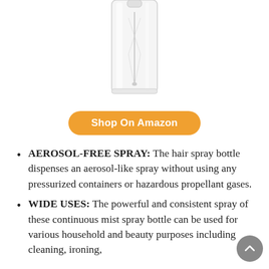[Figure (photo): Clear transparent spray bottle with pump nozzle, partially cropped at top]
Shop On Amazon
AEROSOL-FREE SPRAY: The hair spray bottle dispenses an aerosol-like spray without using any pressurized containers or hazardous propellant gases.
WIDE USES: The powerful and consistent spray of these continuous mist spray bottle can be used for various household and beauty purposes including cleaning, ironing,